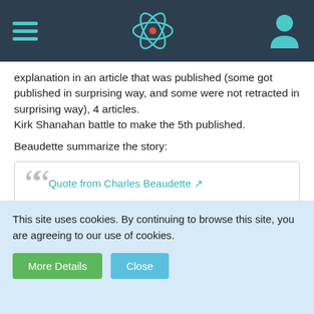[Navigation bar with hamburger menu, atom icon, and user icon]
explanation in an article that was published (some got published in surprising way, and some were not retracted in surprising way), 4 articles.
Kirk Shanahan battle to make the 5th published.
Beaudette summarize the story:
Quote from Charles Beaudette [external link]
Unfortunately, physicists did not generally claim expertise in calorimetry, the measurement of calories of heat energy. Nor did they countenance clever chemists declaring hypotheses about nuclear physics. Their outspoken commentary largely ignored the heat measurements along with the offer of an hypothesis about unknown nuclear processes. They did not
This site uses cookies. By continuing to browse this site, you are agreeing to our use of cookies.